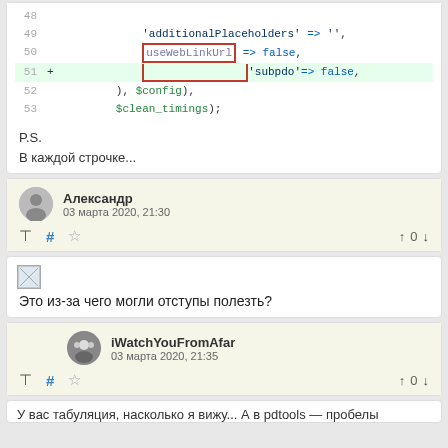[Figure (screenshot): Code diff snippet showing PHP array lines 48-53, with line 51 highlighted green (added) and a red rectangle drawn around 'useWebLinkUrl' on lines 50-51]
P.S.
В каждой строчке...
Александр
03 марта 2020, 21:30
↑ 0 ↓
[Figure (photo): Small broken image icon placeholder]
Это из-за чего могли отступы полезть?
iWatchYouFromAfar
03 марта 2020, 21:35
↑ 0 ↓
У вас табуляция, насколько я вижу... А в pdtools — пробелы